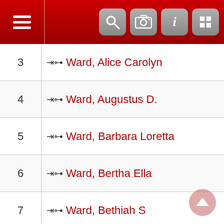Navigation header with hamburger menu and icons (search, camera, info, menu)
| # | Name |
| --- | --- |
| 3 | Ward, Alice Carolyn |
| 4 | Ward, Augustus D. |
| 5 | Ward, Barbara Loretta |
| 6 | Ward, Bertha Ella |
| 7 | Ward, Bethiah S |
| 8 | Ward, Charles D |
| 9 | Ward, Charles Herbert Augustus |
| 10 | Ward, Charles Lenllyn |
| 11 | Ward, Chauncey D |
| 12 | Ward, Clara D |
| 13 | Ward, Clifford T |